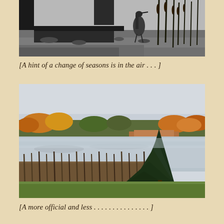[Figure (photo): Black and white photo of a large bird (heron or crane) standing near water with cattails/reeds in the background and a dock or platform visible]
[A hint of a change of seasons is in the air . . . ]
[Figure (photo): Color photograph of a calm lake or pond scene with cattail reeds in the foreground, a large evergreen tree on the right, and autumn-colored trees reflected in the still water across the far shore, under an overcast sky with a mowed green lawn in the very foreground]
[A more official and less . . . . . . . . . . . . . . . ]